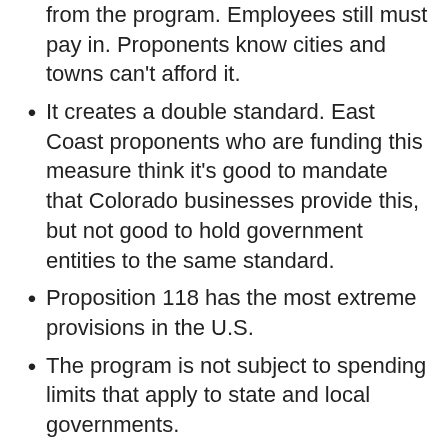from the program. Employees still must pay in. Proponents know cities and towns can't afford it.
It creates a double standard. East Coast proponents who are funding this measure think it's good to mandate that Colorado businesses provide this, but not good to hold government entities to the same standard.
Proposition 118 has the most extreme provisions in the U.S.
The program is not subject to spending limits that apply to state and local governments.
Employees won't talk with their employer when they need family medical leave; employees will notify the state and the bureaucracy will decide if